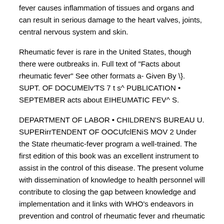fever causes inflammation of tissues and organs and can result in serious damage to the heart valves, joints, central nervous system and skin.
Rheumatic fever is rare in the United States, though there were outbreaks in. Full text of "Facts about rheumatic fever" See other formats a- Given By \}. SUPT. OF DOCUMElv'TS 7 t s^ PUBLICATION • SEPTEMBER acts about EIHEUMATIC FEV^ S.
DEPARTMENT OF LABOR • CHILDREN'S BUREAU U. SUPERirrTENDENT OF OOCUfclENiS MOV 2 Under the State rheumatic-fever program a well-trained. The first edition of this book was an excellent instrument to assist in the control of this disease. The present volume with dissemination of knowledge to health personnel will contribute to closing the gap between knowledge and implementation and it links with WHO's endeavors in prevention and control of rheumatic fever and rheumatic heart Format: Paperback.
Rheumatic Heart Disease is by far the most common acquired cardiac condition mostly found in children throughout the globe. This disease is especially spread in the third world countries where rheumatic fever